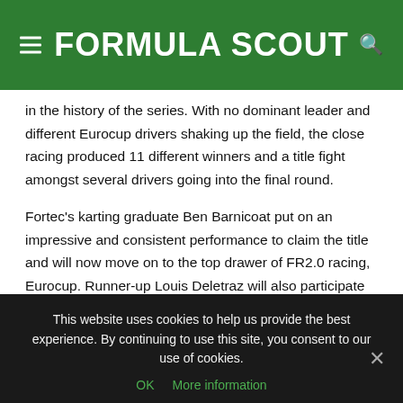FORMULA SCOUT
in the history of the series. With no dominant leader and different Eurocup drivers shaking up the field, the close racing produced 11 different winners and a title fight amongst several drivers going into the final round.
Fortec's karting graduate Ben Barnicoat put on an impressive and consistent performance to claim the title and will now move on to the top drawer of FR2.0 racing, Eurocup. Runner-up Louis Deletraz will also participate in Eurocup but the Swiss racer is set to return to NEC to fight for the title. Meanwhile, Seb Morris, third in the standings, has joined GP3 with Status.
This website uses cookies to help us provide the best experience. By continuing to use this site, you consent to our use of cookies.
OK   More information